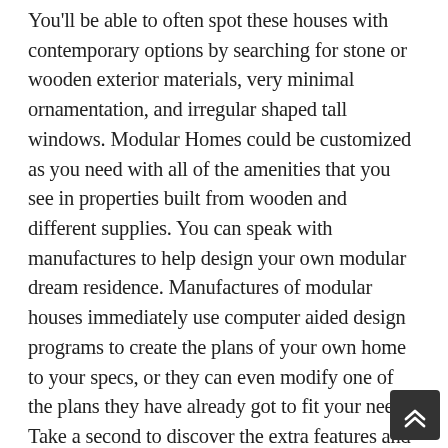You'll be able to often spot these houses with contemporary options by searching for stone or wooden exterior materials, very minimal ornamentation, and irregular shaped tall windows. Modular Homes could be customized as you need with all of the amenities that you see in properties built from wooden and different supplies. You can speak with manufactures to help design your own modular dream residence. Manufactures of modular houses immediately use computer aided design programs to create the plans of your own home to your specs, or they can even modify one of the plans they have already got to fit your needs. Take a second to discover the extra features and benefits modular properties can provide and get in to the brand new wave in residence constructing and even avoid wasting money in the process. Since all modular factories have to construct based on certain codes, your property will